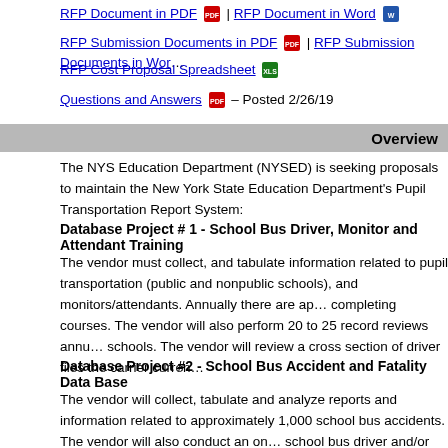RFP Document in PDF | RFP Document in Word
RFP Submission Documents in PDF | RFP Submission Documents in Word
RFP Cost Proposal Spreadsheet
Questions and Answers – Posted 2/26/19
Overview
The NYS Education Department (NYSED) is seeking proposals to maintain the New York State Education Department's Pupil Transportation Report System:
Database Project # 1 - School Bus Driver, Monitor and Attendant Training
The vendor must collect, and tabulate information related to pupil transportation (public and nonpublic schools), and monitors/attendants. Annually there are approximately completing courses. The vendor will also perform 20 to 25 record reviews annually at schools. The vendor will review a cross section of driver files the carrier currently
Database Project #2 - School Bus Accident and Fatality Data Base
The vendor will collect, tabulate and analyze reports and information related to approximately 1,000 school bus accidents. The vendor will also conduct an on-site school bus driver and/or school bus monitor/attendant fatality. There was one school bus accident in 2017/2018 school year. Additionally, the accident database vendor will be responsible